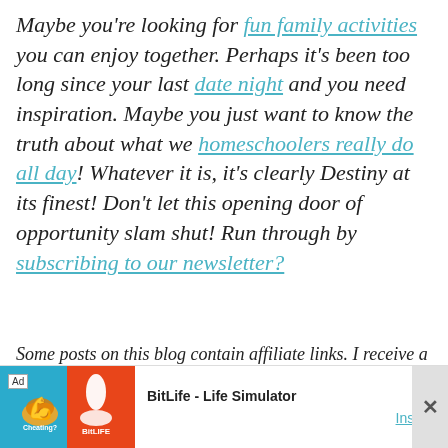Maybe you're looking for fun family activities you can enjoy together. Perhaps it's been too long since your last date night and you need inspiration. Maybe you just want to know the truth about what we homeschoolers really do all day! Whatever it is, it's clearly Destiny at its finest! Don't let this opening door of opportunity slam shut! Run through by subscribing to our newsletter?
Some posts on this blog contain affiliate links. I receive a small commission whenever a product is purchased through those links. Occasionally I receive products...
[Figure (other): Advertisement banner for BitLife - Life Simulator app. Shows Ad label, game artwork on left (blue and orange halves), app name 'BitLife - Life Simulator' and Install button on right.]